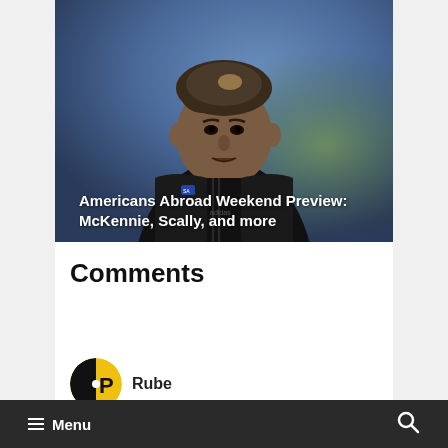[Figure (photo): A soccer player in a black Juventus jersey with short curly hair, looking forward. Blurred colorful background suggesting a stadium setting. Text overlay reads: Americans Abroad Weekend Preview: McKennie, Scally, and more]
Americans Abroad Weekend Preview: McKennie, Scally, and more
Comments
Rube
Menu